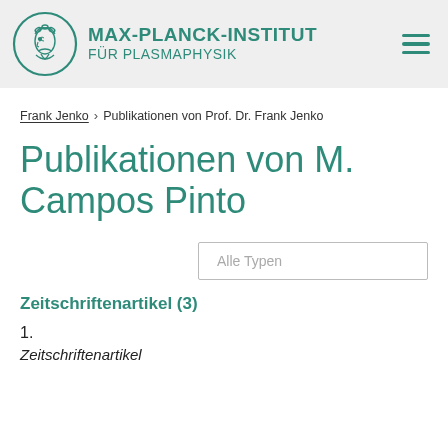MAX-PLANCK-INSTITUT FÜR PLASMAPHYSIK
Frank Jenko › Publikationen von Prof. Dr. Frank Jenko
Publikationen von M. Campos Pinto
Alle Typen
Zeitschriftenartikel (3)
1.
Zeitschriftenartikel